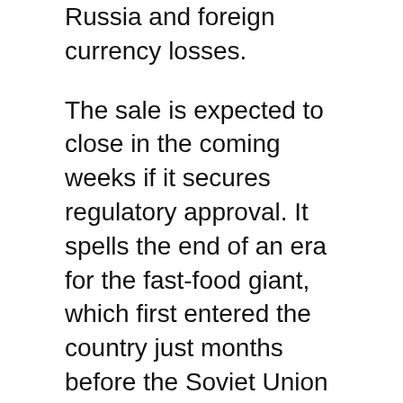Russia and foreign currency losses.
The sale is expected to close in the coming weeks if it secures regulatory approval. It spells the end of an era for the fast-food giant, which first entered the country just months before the Soviet Union dissolved.
“McDonald’s in Russia embodied the very notion of glasnost and took on outsized significance,” CEO Chris Kempczinski wrote in a letter to the McDonald’s system on Monday after the company announced its intent to sell.
In the three decades since opening its first location in Moscow, McDonald’s had grown its Russian business to roughly 850 locations.